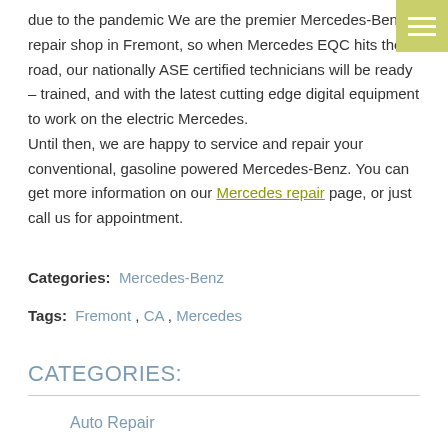due to the pandemic We are the premier Mercedes-Benz repair shop in Fremont, so when Mercedes EQC hits the road, our nationally ASE certified technicians will be ready – trained, and with the latest cutting edge digital equipment to work on the electric Mercedes. Until then, we are happy to service and repair your conventional, gasoline powered Mercedes-Benz. You can get more information on our Mercedes repair page, or just call us for appointment.
Categories: Mercedes-Benz
Tags: Fremont , CA , Mercedes
CATEGORIES:
Auto Repair
Volkswagen Repair
BMW Repair